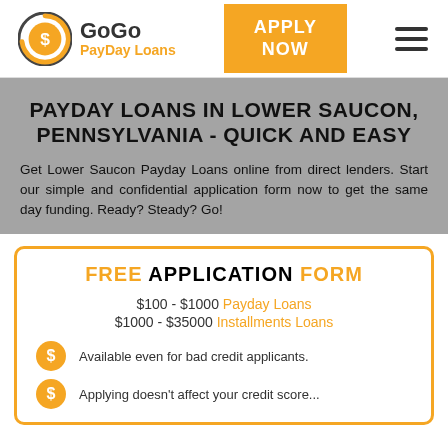[Figure (logo): GoGo PayDay Loans logo with dollar sign coin graphic]
PAYDAY LOANS IN LOWER SAUCON, PENNSYLVANIA - QUICK AND EASY
Get Lower Saucon Payday Loans online from direct lenders. Start our simple and confidential application form now to get the same day funding. Ready? Steady? Go!
FREE APPLICATION FORM
$100 - $1000 Payday Loans
$1000 - $35000 Installments Loans
Available even for bad credit applicants.